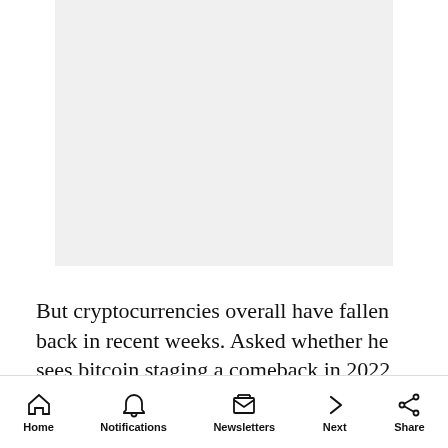[Figure (photo): Gray placeholder image area representing a photo or advertisement]
But cryptocurrencies overall have fallen back in recent weeks. Asked whether he sees bitcoin staging a comeback in 2022, Bankman-Fried was
Home  Notifications  Newsletters  Next  Share